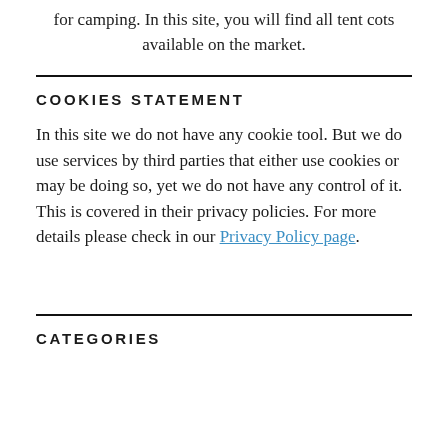for camping. In this site, you will find all tent cots available on the market.
COOKIES STATEMENT
In this site we do not have any cookie tool. But we do use services by third parties that either use cookies or may be doing so, yet we do not have any control of it. This is covered in their privacy policies. For more details please check in our Privacy Policy page.
CATEGORIES